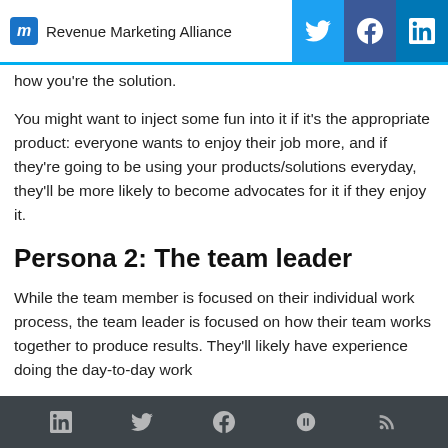Revenue Marketing Alliance
how you’re the solution.
You might want to inject some fun into it if it’s the appropriate product: everyone wants to enjoy their job more, and if they’re going to be using your products/solutions everyday, they’ll be more likely to become advocates for it if they enjoy it.
Persona 2: The team leader
While the team member is focused on their individual work process, the team leader is focused on how their team works together to produce results. They’ll likely have experience doing the day-to-day work
LinkedIn Twitter Facebook Community RSS